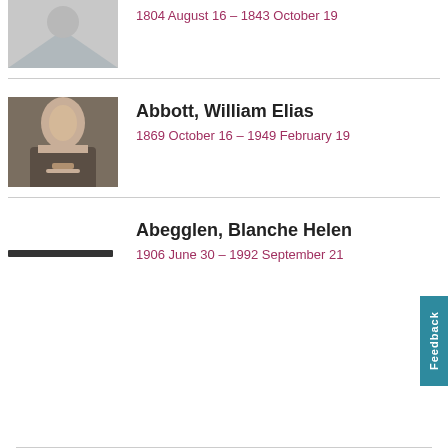1804 August 16 – 1843 October 19
Abbott, William Elias
1869 October 16 – 1949 February 19
Abegglen, Blanche Helen
1906 June 30 – 1992 September 21